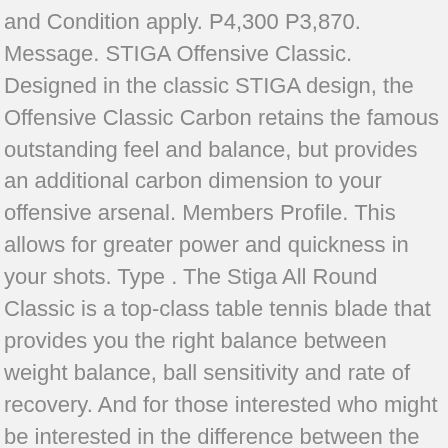and Condition apply. P4,300 P3,870. Message. STIGA Offensive Classic. Designed in the classic STIGA design, the Offensive Classic Carbon retains the famous outstanding feel and balance, but provides an additional carbon dimension to your offensive arsenal. Members Profile. This allows for greater power and quickness in your shots. Type . The Stiga All Round Classic is a top-class table tennis blade that provides you the right balance between weight balance, ball sensitivity and rate of recovery. And for those interested who might be interested in the difference between the old and new Offensive Classic: I include a picture of a 1990's Stiga Offensive Classic WRB, with stained Koto outer plies and a brand new Stiga Offensive Classic WRB, with stained Limba outer plies. Add to Cart. Post Reply. Ask a Question. Stiga All Round Classic Table Tennis Blade (89 g). The thickness of Stiga Offensive Classic Carbon is about ... More Information. YINHE Kiso Hinoki 9. Lacquering. Compare Quick View. STIGA OFFENSIVE CLASSIC. Award winning blade – Used by members of the world champion Swedish National